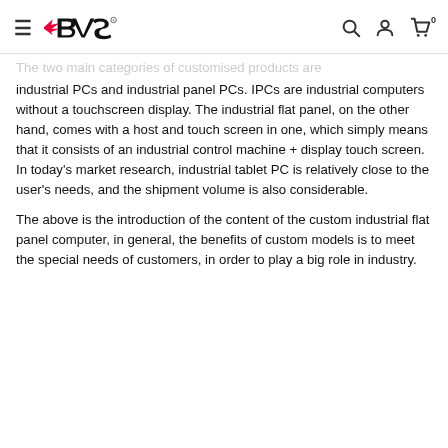BVS
The two main categories of customised products are industrial PCs and industrial panel PCs. IPCs are industrial computers without a touchscreen display. The industrial flat panel, on the other hand, comes with a host and touch screen in one, which simply means that it consists of an industrial control machine + display touch screen. In today's market research, industrial tablet PC is relatively close to the user's needs, and the shipment volume is also considerable.
The above is the introduction of the content of the custom industrial flat panel computer, in general, the benefits of custom models is to meet the special needs of customers, in order to play a big role in industry.